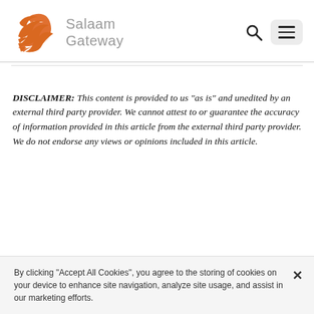[Figure (logo): Salaam Gateway logo with orange wave/bird motif and grey text]
DISCLAIMER: This content is provided to us “as is” and unedited by an external third party provider. We cannot attest to or guarantee the accuracy of information provided in this article from the external third party provider. We do not endorse any views or opinions included in this article.
By clicking “Accept All Cookies”, you agree to the storing of cookies on your device to enhance site navigation, analyze site usage, and assist in our marketing efforts.